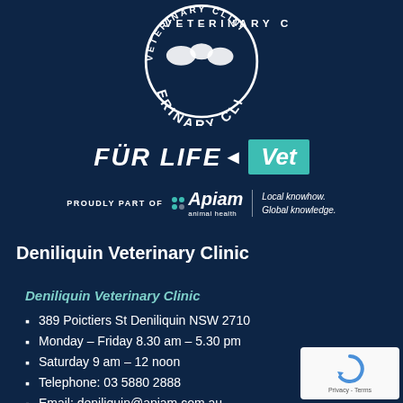[Figure (logo): Circular veterinary clinic logo with animals and text 'VETERINARY CLINIC' around the border, white on dark navy]
[Figure (logo): Fur Life Vet logo — 'FUR LIFE' in white bold italic uppercase with an arrow pointing left into a teal badge reading 'Vet']
[Figure (logo): Apiam Animal Health logo with dots and tagline 'Local knowhow. Global knowledge.' and 'PROUDLY PART OF' prefix]
Deniliquin Veterinary Clinic
Deniliquin Veterinary Clinic
389 Poictiers St Deniliquin NSW 2710
Monday – Friday 8.30 am – 5.30 pm
Saturday 9 am – 12 noon
Telephone: 03 5880 2888
Email: deniliquin@apiam.com.au